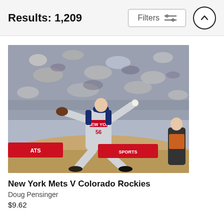Results: 1,209
[Figure (photo): A New York Mets pitcher (#56) in a gray uniform winding up to throw a pitch on the mound, with a crowd of spectators in the background and a partial umpire visible on the right]
New York Mets V Colorado Rockies
Doug Pensinger
$9.62